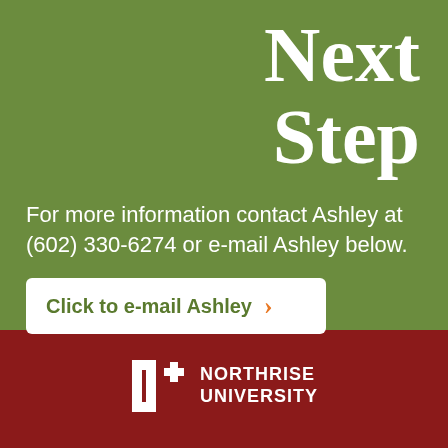Next Step
For more information contact Ashley at (602) 330-6274 or e-mail Ashley below.
Click to e-mail Ashley >
[Figure (logo): Northrise University logo with stylized N+ icon in white on dark red background, and text NORTHRISE UNIVERSITY in white bold capitals]